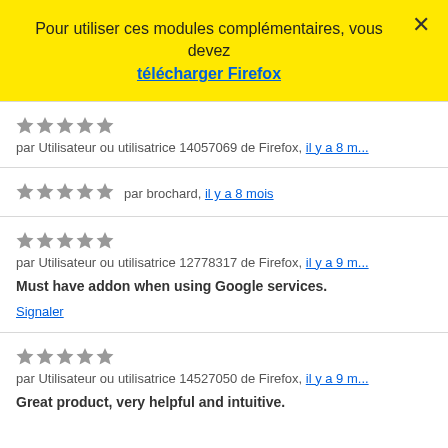Pour utiliser ces modules complémentaires, vous devez télécharger Firefox
★★★★★ par Utilisateur ou utilisatrice 14057069 de Firefox, il y a 8 m...
★★★★★ par brochard, il y a 8 mois
★★★★★ par Utilisateur ou utilisatrice 12778317 de Firefox, il y a 9 m...
Must have addon when using Google services.
Signaler
★★★★★ par Utilisateur ou utilisatrice 14527050 de Firefox, il y a 9 m...
Great product, very helpful and intuitive.